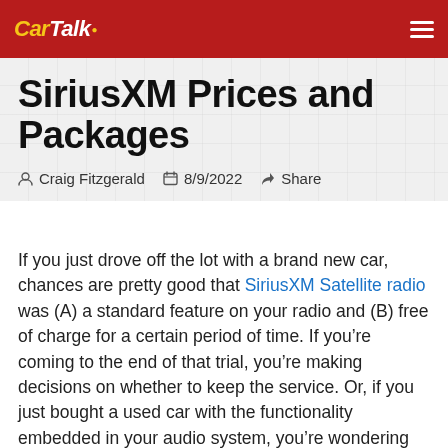Car Talk
SiriusXM Prices and Packages
Craig Fitzgerald  8/9/2022  Share
If you just drove off the lot with a brand new car, chances are pretty good that SiriusXM Satellite radio was (A) a standard feature on your radio and (B) free of charge for a certain period of time. If you’re coming to the end of that trial, you’re making decisions on whether to keep the service. Or, if you just bought a used car with the functionality embedded in your audio system, you’re wondering